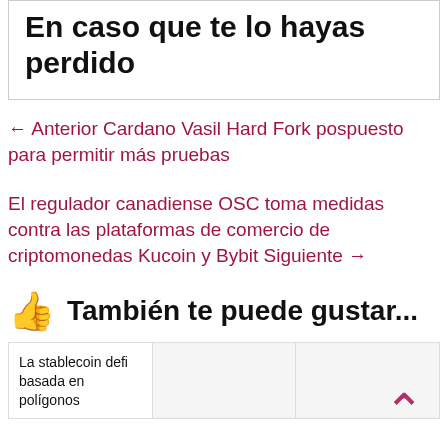En caso que te lo hayas perdido
← Anterior Cardano Vasil Hard Fork pospuesto para permitir más pruebas
El regulador canadiense OSC toma medidas contra las plataformas de comercio de criptomonedas Kucoin y Bybit Siguiente →
👍  También te puede gustar...
La stablecoin defi basada en polígonos